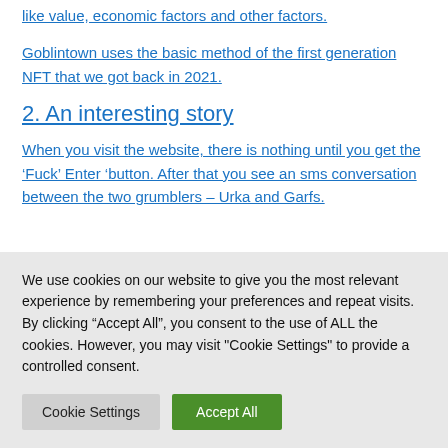like value, economic factors and other factors.
Goblintown uses the basic method of the first generation NFT that we got back in 2021.
2. An interesting story
When you visit the website, there is nothing until you get the ‘Fuck’ Enter ‘button. After that you see an sms conversation between the two grumblers – Urka and Garfs.
We use cookies on our website to give you the most relevant experience by remembering your preferences and repeat visits. By clicking “Accept All”, you consent to the use of ALL the cookies. However, you may visit "Cookie Settings" to provide a controlled consent.